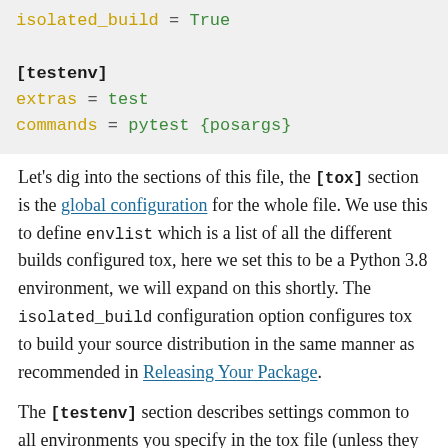[Figure (screenshot): Code block showing tox.ini configuration: isolated_build = True, [testenv] section with extras = test and commands = pytest {posargs}]
Let's dig into the sections of this file, the [tox] section is the global configuration for the whole file. We use this to define envlist which is a list of all the different builds configured tox, here we set this to be a Python 3.8 environment, we will expand on this shortly. The isolated_build configuration option configures tox to build your source distribution in the same manner as recommended in Releasing Your Package.
The [testenv] section describes settings common to all environments you specify in the tox file (unless they are later overridden), here we default the commands to run pytest. The {posargs} is a tox substitution which passes extra arguments through to pytest. The extras = test line tell